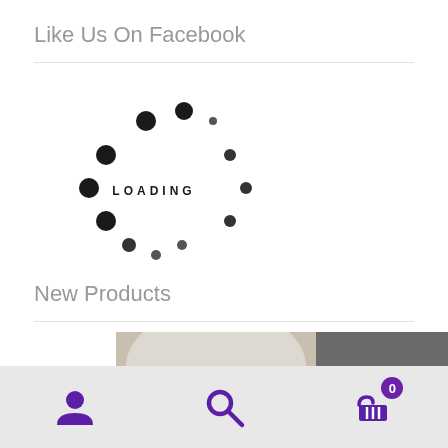Like Us On Facebook
[Figure (infographic): Loading spinner animation with dots arranged in a circle and 'LOADING' text in the center]
New Products
[Figure (photo): Partial product image showing beige/gray circular shape and dark background]
Navigation bar with user icon, search icon, and cart icon with badge showing 0